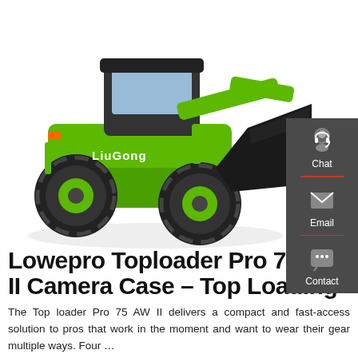[Figure (photo): Green and black LiuGong wheel loader / front-end loader with large bucket, positioned on white background. The machine is bright green with black tires and a large dark bucket attachment.]
Lowepro Toploader Pro 75 AW II Camera Case – Top Loading
The Top loader Pro 75 AW II delivers a compact and fast-access solution to pros that work in the moment and want to wear their gear multiple ways. Four …